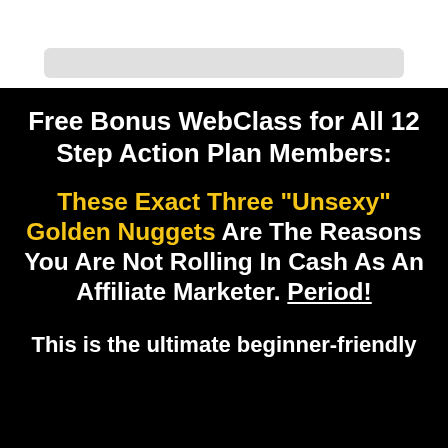[Figure (other): White section at top with a light gray rounded rectangle bar, partial view of content above]
Free Bonus WebClass for All 12 Step Action Plan Members:
These Exact Three "Unsexy" Golden Nuggets Are The Reasons You Are Not Rolling In Cash As An Affiliate Marketer. Period!
This is the ultimate beginner-friendly